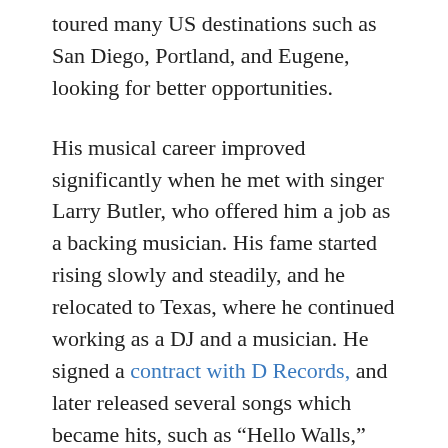toured many US destinations such as San Diego, Portland, and Eugene, looking for better opportunities.
His musical career improved significantly when he met with singer Larry Butler, who offered him a job as a backing musician. His fame started rising slowly and steadily, and he relocated to Texas, where he continued working as a DJ and a musician. He signed a contract with D Records, and later released several songs which became hits, such as “Hello Walls,” “Pretty Paper,” and “Crazy” before 1960.